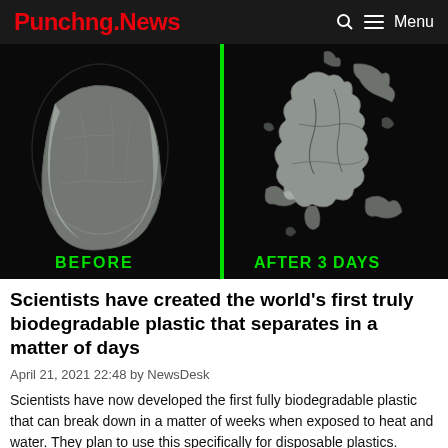Punchng.News  🔍 ☰ Menu
[Figure (photo): Before and after comparison of biodegradable plastic: left side shows an intact translucent plastic bag on black background labeled BEFORE; right side shows the same plastic broken into fragments labeled AFTER 3 DAYS; a green vertical line divides the two halves.]
Scientists have created the world's first truly biodegradable plastic that separates in a matter of days
April 21, 2021 22:48 by NewsDesk
Scientists have now developed the first fully biodegradable plastic that can break down in a matter of weeks when exposed to heat and water. They plan to use this specifically for disposable plastics.